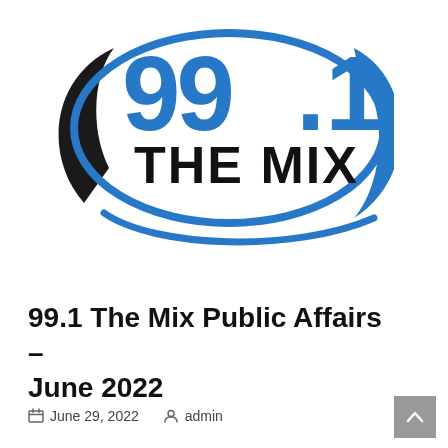[Figure (logo): 99.1 The Mix radio station logo with large blue numerals '99.1' and bold black text 'THE MIX' surrounded by a blue oval swoosh and black curved stroke]
99.1 The Mix Public Affairs – June 2022
June 29, 2022   admin